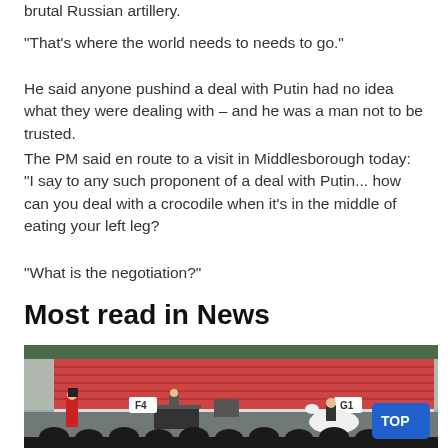brutal Russian artillery.
"That's where the world needs to needs to go."
He said anyone pushind a deal with Putin had no idea what they were dealing with – and he was a man not to be trusted.
The PM said en route to a visit in Middlesborough today: "I say to any such proponent of a deal with Putin... how can you deal with a crocodile when it's in the middle of eating your left leg?
"What is the negotiation?"
Most read in News
[Figure (photo): Outdoor event venue with red stadium seating in the background. A person in a red uniform stands on the left, a white horse with rider is visible on the right, and a blue 'TOP' button overlays the bottom right corner. Section labels F4 and G1 are visible.]